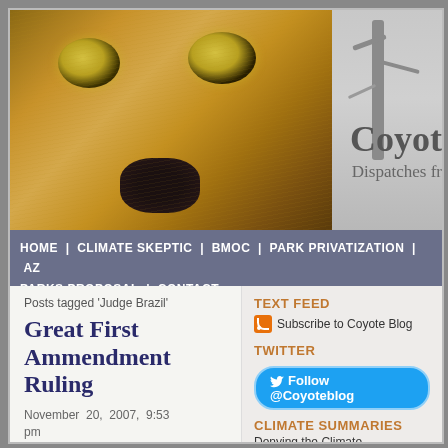[Figure (photo): Close-up photo of a coyote face with golden eyes, tan/brown fur, and dark nose. Right side shows winter bare trees against gray background. Site title 'Coyot' and subtitle 'Dispatches fr' visible overlaid on right portion.]
HOME | CLIMATE SKEPTIC | BMOC | PARK PRIVATIZATION | AZ PARKS PROPOSAL | CONTACT
Posts tagged 'Judge Brazil'
Great First Ammendment Ruling
November 20, 2007, 9:53 pm
TEXT FEED
Subscribe to Coyote Blog
TWITTER
Follow @Coyoteblog
CLIMATE SUMMARIES
Denying the Climate